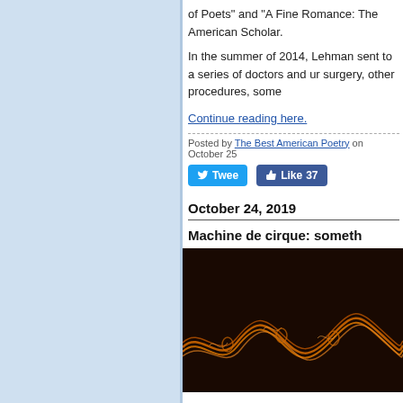of Poets” and “A Fine Romance:’ The American Scholar.
In the summer of 2014, Lehman sent to a series of doctors and un surgery, other procedures, some
Continue reading here.
Posted by The Best American Poetry on October 25
Tweet | Like 37
October 24, 2019
Machine de cirque: someth
[Figure (photo): Dark background with orange/golden curved lines or ropes forming a wave-like pattern]